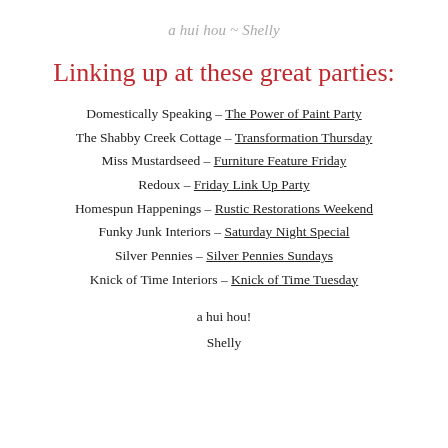a hui hou ~ Shelly
Linking up at these great parties:
Domestically Speaking – The Power of Paint Party
The Shabby Creek Cottage – Transformation Thursday
Miss Mustardseed – Furniture Feature Friday
Redoux – Friday Link Up Party
Homespun Happenings – Rustic Restorations Weekend
Funky Junk Interiors – Saturday Night Special
Silver Pennies – Silver Pennies Sundays
Knick of Time Interiors – Knick of Time Tuesday
a hui hou!
Shelly